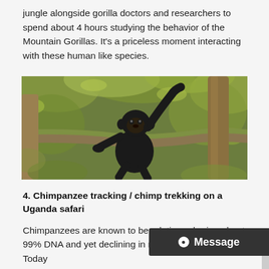jungle alongside gorilla doctors and researchers to spend about 4 hours studying the behavior of the Mountain Gorillas. It's a priceless moment interacting with these human like species.
[Figure (photo): A chimpanzee sitting on a moss-covered tree branch in a lush green jungle, looking at the camera with one arm raised.]
4. Chimpanzee tracking / chimp trekking on a Uganda safari
Chimpanzees are known to be relatives sharing about 99% DNA and yet declining in number in the wild. Today